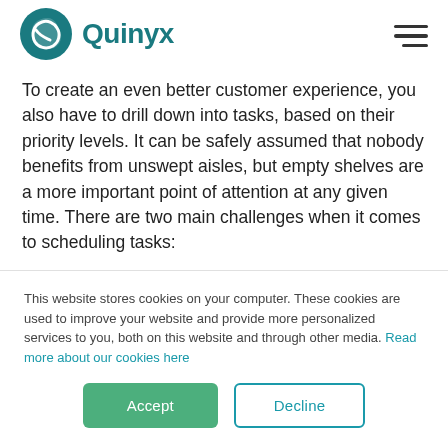[Figure (logo): Quinyx logo with teal leaf/Q icon and teal wordmark 'Quinyx']
To create an even better customer experience, you also have to drill down into tasks, based on their priority levels. It can be safely assumed that nobody benefits from unswept aisles, but empty shelves are a more important point of attention at any given time. There are two main challenges when it comes to scheduling tasks:
This website stores cookies on your computer. These cookies are used to improve your website and provide more personalized services to you, both on this website and through other media. Read more about our cookies here